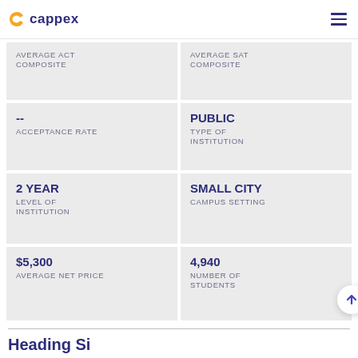cappex
| Left | Right |
| --- | --- |
| AVERAGE ACT COMPOSITE | AVERAGE SAT COMPOSITE |
| -- ACCEPTANCE RATE | PUBLIC TYPE OF INSTITUTION |
| 2 YEAR LEVEL OF INSTITUTION | SMALL CITY CAMPUS SETTING |
| $5,300 AVERAGE NET PRICE | 4,940 NUMBER OF STUDENTS |
Heading Si